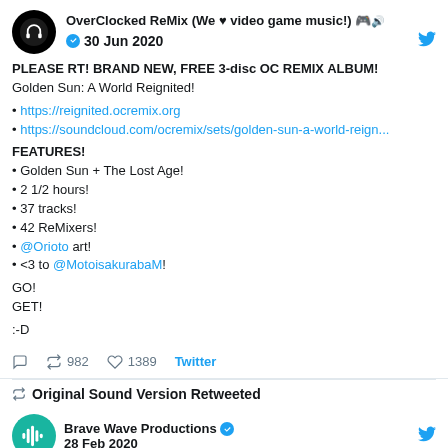OverClocked ReMix (We ♥ video game music!) 🎮🎵 ✔ 30 Jun 2020
PLEASE RT! BRAND NEW, FREE 3-disc OC REMIX ALBUM! Golden Sun: A World Reignited!

• https://reignited.ocremix.org
• https://soundcloud.com/ocremix/sets/golden-sun-a-world-reign...

FEATURES!
• Golden Sun + The Lost Age!
• 2 1/2 hours!
• 37 tracks!
• 42 ReMixers!
• @Orioto art!
• <3 to @MotoisakurabaM!

GO!
GET!

:-D
982 retweets, 1389 likes, Twitter
Original Sound Version Retweeted
Brave Wave Productions ✔ 28 Feb 2020